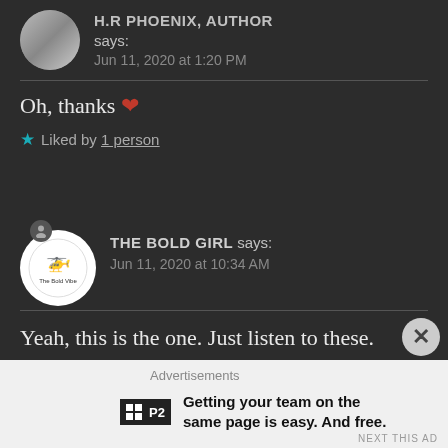H.R PHOENIX, AUTHOR says: Jun 11, 2020 at 1:20 PM
Oh, thanks ❤
★ Liked by 1 person
THE BOLD GIRL says: Jun 11, 2020 at 10:34 AM
Yeah, this is the one. Just listen to these.
Advertisements
Getting your team on the same page is easy. And free.